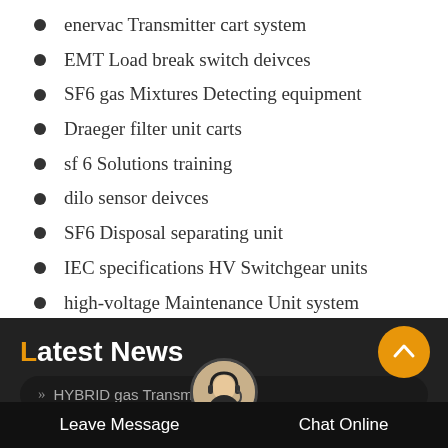enervac Transmitter cart system
EMT Load break switch deivces
SF6 gas Mixtures Detecting equipment
Draeger filter unit carts
sf 6 Solutions training
dilo sensor deivces
SF6 Disposal separating unit
IEC specifications HV Switchgear units
high-voltage Maintenance Unit system
Latest News
» HYBRID gas Transmitter uni...
Leave Message   Chat Online